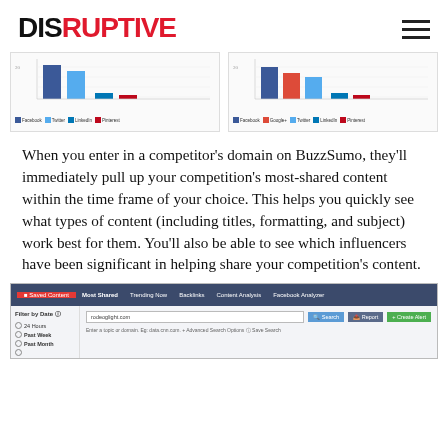DISRUPTIVE
[Figure (screenshot): Two bar charts side by side showing social media share data. Left chart shows bars for Facebook, Twitter, LinkedIn, Pinterest. Right chart shows bars for Facebook, Google+, Twitter, LinkedIn, Pinterest.]
When you enter in a competitor’s domain on BuzzSumo, they’ll immediately pull up your competition’s most-shared content within the time frame of your choice. This helps you quickly see what types of content (including titles, formatting, and subject) work best for them. You’ll also be able to see which influencers have been significant in helping share your competition’s content.
[Figure (screenshot): BuzzSumo interface screenshot showing navigation tabs (Saved Content, Most Shared, Trending Now, Backlinks, Content Analysis, Facebook Analyzer), a filter sidebar with date options (24 Hours, Past Week, Past Month), a search input field with a domain, and Search, Report, Create Alert buttons.]